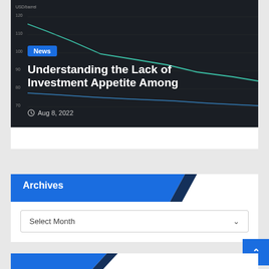[Figure (continuous-plot): Dark background line chart showing USD/barrel values over time with declining trend lines in teal/green and blue colors. Y-axis label: USD/barrel, top value 120, other ticks at 110, 100, 90, 80, 70.]
News
Understanding the Lack of Investment Appetite Among
Aug 8, 2022
Archives
Select Month